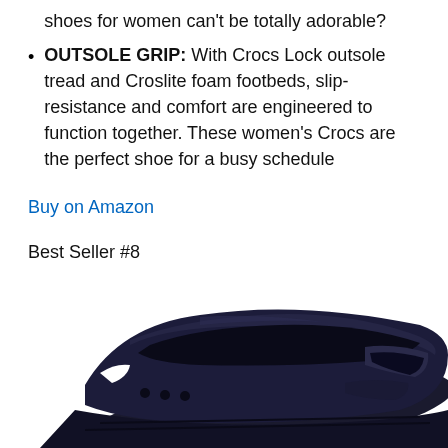shoes for women can't be totally adorable?
OUTSOLE GRIP: With Crocs Lock outsole tread and Croslite foam footbeds, slip-resistance and comfort are engineered to function together. These women's Crocs are the perfect shoe for a busy schedule
Buy on Amazon
Best Seller #8
[Figure (photo): Black Crocs women's flat shoe (wedge/ballet style) with cutout details and Crocs Lock outsole tread, photographed on white background.]